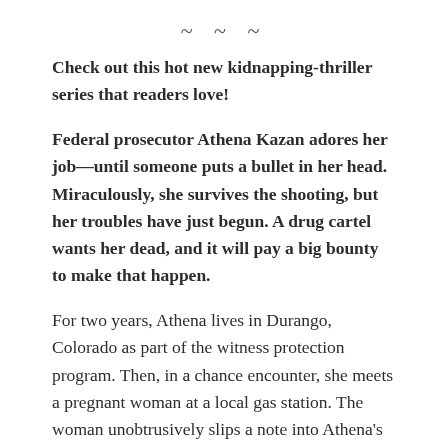~ ~ ~
Check out this hot new kidnapping-thriller series that readers love!
Federal prosecutor Athena Kazan adores her job—until someone puts a bullet in her head. Miraculously, she survives the shooting, but her troubles have just begun. A drug cartel wants her dead, and it will pay a big bounty to make that happen.
For two years, Athena lives in Durango, Colorado as part of the witness protection program. Then, in a chance encounter, she meets a pregnant woman at a local gas station. The woman unobtrusively slips a note into Athena's hand. The message reads: Over forty